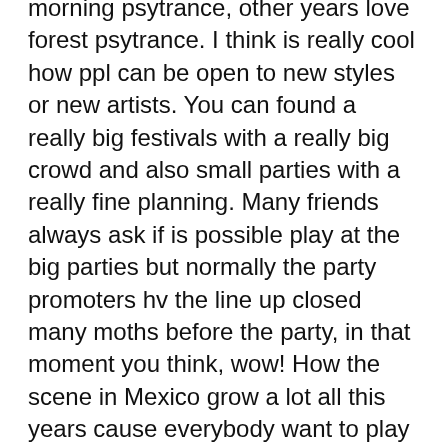morning psytrance, other years love forest psytrance. I think is really cool how ppl can be open to new styles or new artists. You can found a really big festivals with a really big crowd and also small parties with a really fine planning. Many friends always ask if is possible play at the big parties but normally the party promoters hv the line up closed many moths before the party, in that moment you think, wow! How the scene in Mexico grow a lot all this years cause everybody want to play here LOL.
[ishikawa] What has been your craziest party experience yet?
What can I say… I've always remember the Timegate Festival, Sylvain (Brain Driver) and I, lost in a unknown mountain on the way to the party, was really creepy! But a the end we found the correct way and boom! Timegate is an insane festival! lol